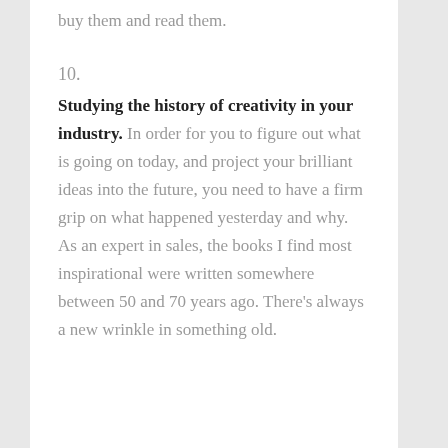buy them and read them.
10.
Studying the history of creativity in your industry. In order for you to figure out what is going on today, and project your brilliant ideas into the future, you need to have a firm grip on what happened yesterday and why. As an expert in sales, the books I find most inspirational were written somewhere between 50 and 70 years ago. There’s always a new wrinkle in something old.